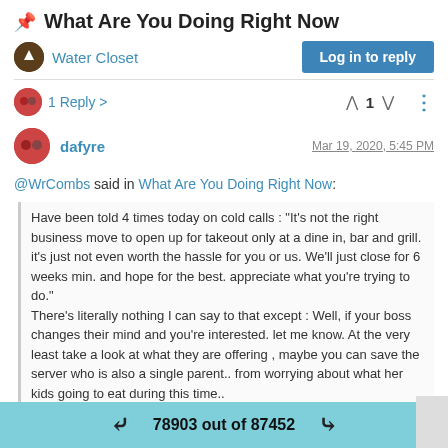📌 What Are You Doing Right Now
Water Closet
Log in to reply
1 Reply >   ^ 1 v   ⋮
dafyre    Mar 19, 2020, 5:45 PM
@WrCombs said in What Are You Doing Right Now:
Have been told 4 times today on cold calls : "It's not the right business move to open up for takeout only at a dine in, bar and grill. it's just not even worth the hassle for you or us. We'll just close for 6 weeks min. and hope for the best. appreciate what you're trying to do." There's literally nothing I can say to that except : Well, if your boss changes their mind and you're interested. let me know. At the very least take a look at what they are offering , maybe you can save the server who is also a single parent.. from worrying about what her kids going to eat during this time..
78903 out of 87452